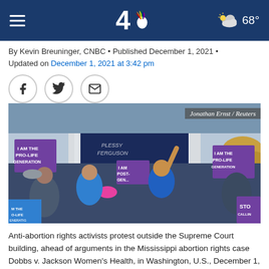NBC 4 • 68°
By Kevin Breuninger, CNBC • Published December 1, 2021 • Updated on December 1, 2021 at 3:42 pm
[Figure (photo): Anti-abortion rights activists protesting outside the US Supreme Court building holding purple signs reading 'I AM THE PRO-LIFE GENERATION' and 'I AM THE POST-ROE GENERATION', with a person in blue jacket raising arm in foreground, pink megaphone visible. Credit: Jonathan Ernst / Reuters]
Anti-abortion rights activists protest outside the Supreme Court building, ahead of arguments in the Mississippi abortion rights case Dobbs v. Jackson Women's Health, in Washington, U.S., December 1, 2021.